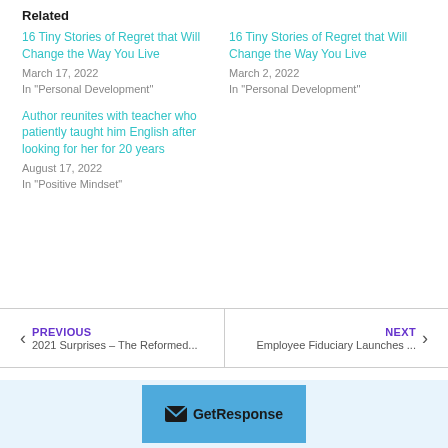Related
16 Tiny Stories of Regret that Will Change the Way You Live
March 17, 2022
In "Personal Development"
16 Tiny Stories of Regret that Will Change the Way You Live
March 2, 2022
In "Personal Development"
Author reunites with teacher who patiently taught him English after looking for her for 20 years
August 17, 2022
In "Positive Mindset"
← PREVIOUS
2021 Surprises – The Reformed...
NEXT →
Employee Fiduciary Launches ...
[Figure (logo): GetResponse logo with envelope icon on blue background]